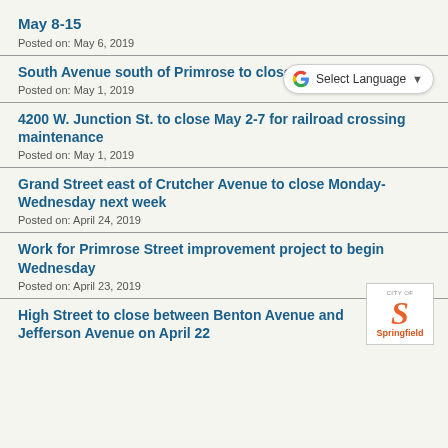May 8-15
Posted on: May 6, 2019
South Avenue south of Primrose to close
Posted on: May 1, 2019
4200 W. Junction St. to close May 2-7 for railroad crossing maintenance
Posted on: May 1, 2019
Grand Street east of Crutcher Avenue to close Monday-Wednesday next week
Posted on: April 24, 2019
Work for Primrose Street improvement project to begin Wednesday
Posted on: April 23, 2019
High Street to close between Benton Avenue and Jefferson Avenue on April 22